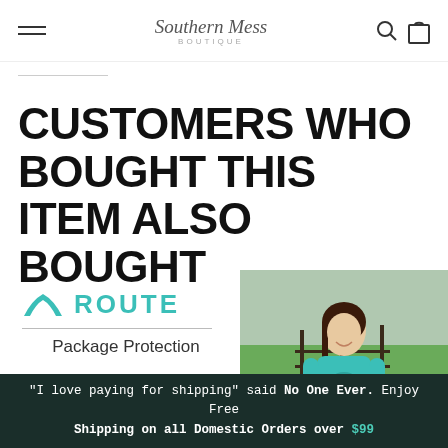Southern Mess Boutique — navigation header with hamburger menu, logo, search and cart icons
CUSTOMERS WHO BOUGHT THIS ITEM ALSO BOUGHT
[Figure (logo): Route package protection logo with teal chevron icon and 'ROUTE' text, followed by a horizontal divider and 'Package Protection' label]
[Figure (photo): Woman smiling outdoors wearing a teal Southern Mess t-shirt, with green fields and fence in background]
"I love paying for shipping" said No One Ever. Enjoy Free Shipping on all Domestic Orders over $99